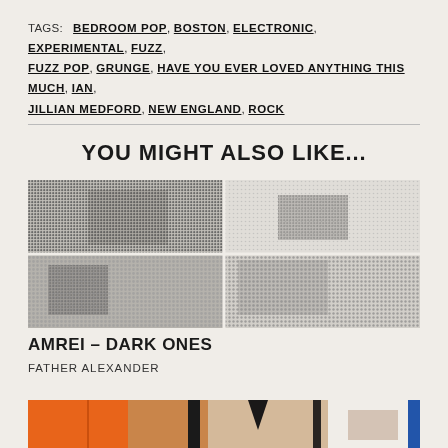TAGS: BEDROOM POP, BOSTON, ELECTRONIC, EXPERIMENTAL, FUZZ, FUZZ POP, GRUNGE, HAVE YOU EVER LOVED ANYTHING THIS MUCH, IAN, JILLIAN MEDFORD, NEW ENGLAND, ROCK
YOU MIGHT ALSO LIKE...
[Figure (photo): Halftone-style black and white photo used as album art, showing abstract urban or architectural shapes with heavy dot pattern texture]
AMREI – DARK ONES
FATHER ALEXANDER
[Figure (illustration): Colorful illustrated album art partially visible at bottom of page, showing orange, tan and dark tones with geometric shapes]